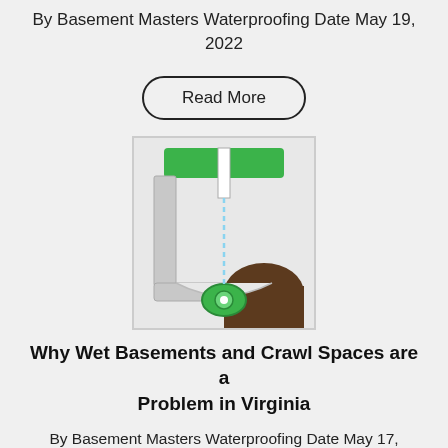By Basement Masters Waterproofing Date May 19, 2022
Read More
[Figure (illustration): Cross-section illustration of a basement waterproofing drainage system showing green lawn at top, concrete wall, and a drain/sump system at the base with water flow.]
Why Wet Basements and Crawl Spaces are a Problem in Virginia
By Basement Masters Waterproofing Date May 17, 2022
Read More
CATEGORIES